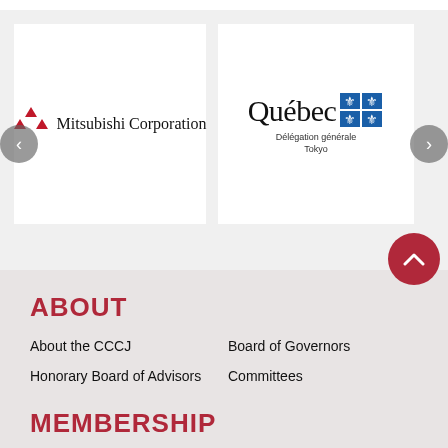[Figure (logo): Mitsubishi Corporation logo with red three-diamond icon and serif text]
[Figure (logo): Québec Délégation générale Tokyo logo with blue fleur-de-lis symbols]
ABOUT
About the CCCJ
Board of Governors
Honorary Board of Advisors
Committees
MEMBERSHIP